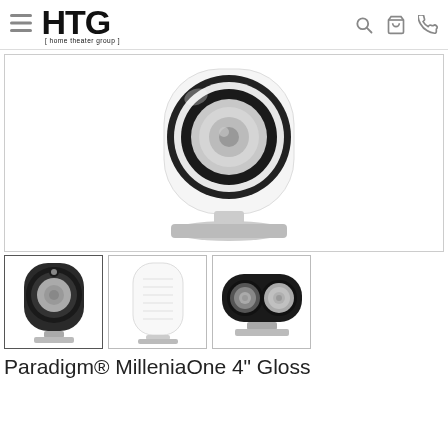HTG [home theater group]
[Figure (photo): Close-up front view of a white Paradigm MilleniaOne 4-inch speaker showing the circular driver with black surround on a silver stand, against white background]
[Figure (photo): Thumbnail 1: Small black Paradigm MilleniaOne speaker, front view at slight angle on silver stand]
[Figure (photo): Thumbnail 2: White Paradigm MilleniaOne speaker, front view on stand]
[Figure (photo): Thumbnail 3: Pair of Paradigm MilleniaOne speakers side by side on silver stand, front view]
Paradigm® MilleniaOne 4" Gloss